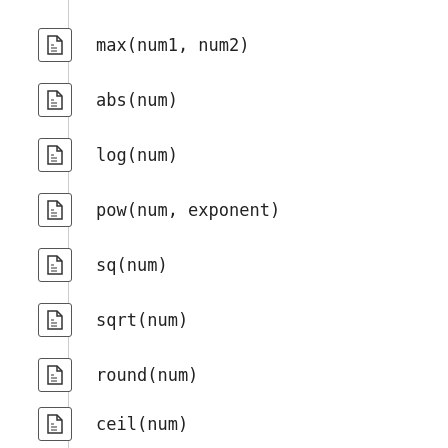max(num1, num2)
abs(num)
log(num)
pow(num, exponent)
sq(num)
sqrt(num)
round(num)
ceil(num)